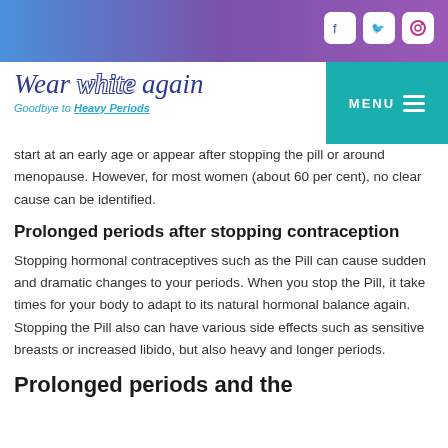[Figure (screenshot): Top gradient banner with purple/blue gradient and white social media icons (Facebook, Twitter, Instagram)]
[Figure (logo): Wear white again logo with tagline 'Goodbye to Heavy Periods' and teal MENU button]
start at an early age or appear after stopping the pill or around menopause. However, for most women (about 60 per cent), no clear cause can be identified.
Prolonged periods after stopping contraception
Stopping hormonal contraceptives such as the Pill can cause sudden and dramatic changes to your periods. When you stop the Pill, it take times for your body to adapt to its natural hormonal balance again. Stopping the Pill also can have various side effects such as sensitive breasts or increased libido, but also heavy and longer periods.
Prolonged periods and the